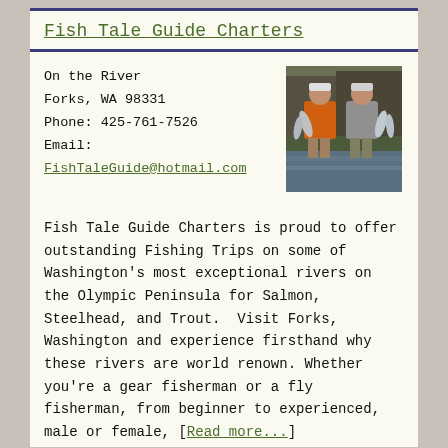Fish Tale Guide Charters
On the River
Forks, WA 98331
Phone: 425-761-7526
Email:
FishTaleGuide@hotmail.com
[Figure (photo): Two people standing in a river holding fish, one wearing an orange jacket and one wearing a gray jacket]
Fish Tale Guide Charters is proud to offer outstanding Fishing Trips on some of Washington's most exceptional rivers on the Olympic Peninsula for Salmon, Steelhead, and Trout.  Visit Forks, Washington and experience firsthand why these rivers are world renown. Whether you're a gear fisherman or a fly fisherman, from beginner to experienced, male or female, [Read more...]